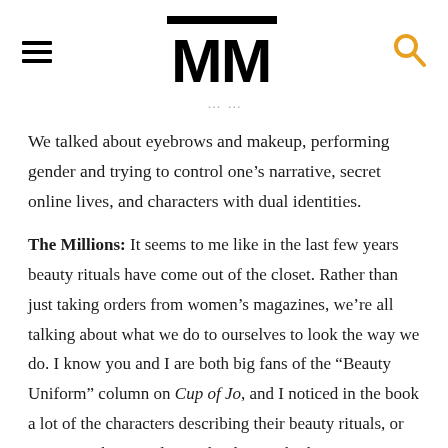MM (The Millions logo with hamburger menu and search icon)
We talked about eyebrows and makeup, performing gender and trying to control one's narrative, secret online lives, and characters with dual identities.
The Millions: It seems to me like in the last few years beauty rituals have come out of the closet. Rather than just taking orders from women's magazines, we're all talking about what we do to ourselves to look the way we do. I know you and I are both big fans of the “Beauty Uniform” column on Cup of Jo, and I noticed in the book a lot of the characters describing their beauty rituals, or noticing other people's. Why do you think